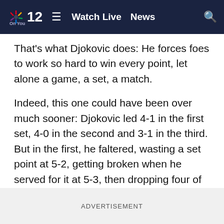NBC 12 — Watch Live  News
That's what Djokovic does: He forces foes to work so hard to win every point, let alone a game, a set, a match.
Indeed, this one could have been over much sooner: Djokovic led 4-1 in the first set, 4-0 in the second and 3-1 in the third. But in the first, he faltered, wasting a set point at 5-2, getting broken when he served for it at 5-3, then dropping four of the tiebreaker's last five points.
When Berrettini closed it out with a 138 mph ace, he shouted — but said later he couldn't hear his own roar because of the how loud many of the 15,000 spectators were.
ADVERTISEMENT